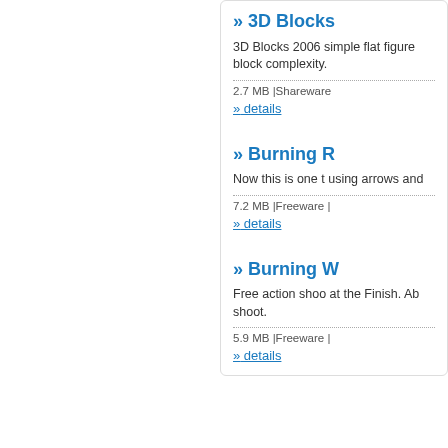» 3D Blocks
3D Blocks 2006 simple flat figure block complexity.
2.7 MB |Shareware
» details
» Burning R
Now this is one t using arrows and
7.2 MB |Freeware |
» details
» Burning W
Free action shoo at the Finish. Ab shoot.
5.9 MB |Freeware |
» details